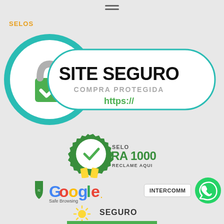≡
SELOS
[Figure (logo): Site Seguro badge with teal circle, padlock icon with green checkmark, white pill shape containing 'SITE SEGURO', 'COMPRA PROTEGIDA', 'https://']
[Figure (logo): Selo RA1000 Reclame Aqui badge with green seal and yellow ribbon]
[Figure (logo): Google Safe Browsing logo with shield icon]
INTERCOMM
[Figure (logo): WhatsApp green circle button]
[Figure (logo): Seguro certification badge with sun/light icon at bottom]